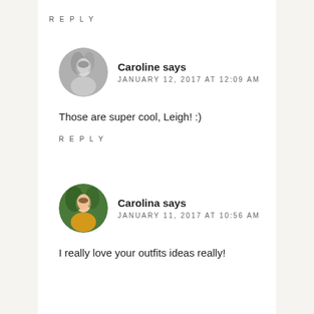REPLY
[Figure (photo): Round avatar photo of a woman with long dark hair, black and white photo]
Caroline says
JANUARY 12, 2017 AT 12:09 AM
Those are super cool, Leigh! :)
REPLY
[Figure (photo): Round avatar photo of a woman with long hair wearing a yellow top, color photo outdoors]
Carolina says
JANUARY 11, 2017 AT 10:56 AM
I really love your outfits ideas really!